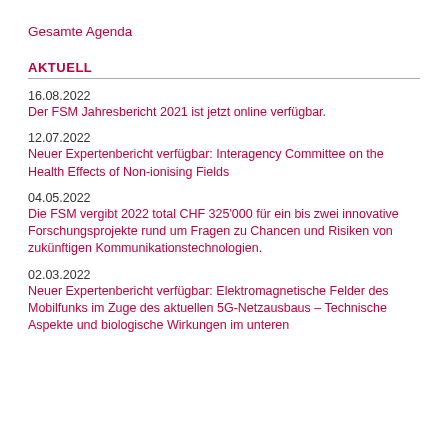Gesamte Agenda
AKTUELL
16.08.2022
Der FSM Jahresbericht 2021 ist jetzt online verfügbar.
12.07.2022
Neuer Expertenbericht verfügbar: Interagency Committee on the Health Effects of Non-ionising Fields
04.05.2022
Die FSM vergibt 2022 total CHF 325'000 für ein bis zwei innovative Forschungsprojekte rund um Fragen zu Chancen und Risiken von zukünftigen Kommunikationstechnologien.
02.03.2022
Neuer Expertenbericht verfügbar: Elektromagnetische Felder des Mobilfunks im Zuge des aktuellen 5G-Netzausbaus – Technische Aspekte und biologische Wirkungen im unteren...